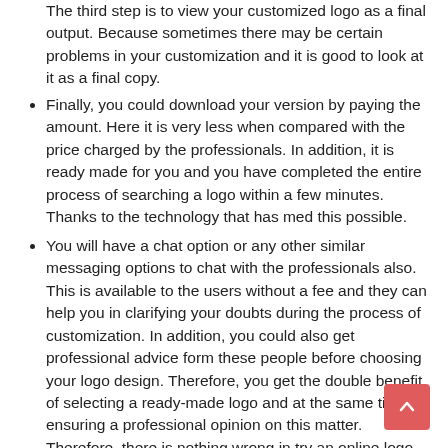The third step is to view your customized logo as a final output. Because sometimes there may be certain problems in your customization and it is good to look at it as a final copy.
Finally, you could download your version by paying the amount. Here it is very less when compared with the price charged by the professionals. In addition, it is ready made for you and you have completed the entire process of searching a logo within a few minutes. Thanks to the technology that has med this possible.
You will have a chat option or any other similar messaging options to chat with the professionals also. This is available to the users without a fee and they can help you in clarifying your doubts during the process of customization. In addition, you could also get professional advice form these people before choosing your logo design. Therefore, you get the double benefit of selecting a ready-made logo and at the same time ensuring a professional opinion on this matter. Therefore, there is nothing wrong in try an online logo site because there is nothing to lose by using it.